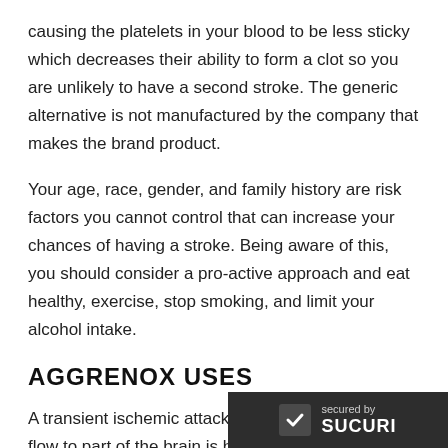causing the platelets in your blood to be less sticky which decreases their ability to form a clot so you are unlikely to have a second stroke. The generic alternative is not manufactured by the company that makes the brand product.
Your age, race, gender, and family history are risk factors you cannot control that can increase your chances of having a stroke. Being aware of this, you should consider a pro-active approach and eat healthy, exercise, stop smoking, and limit your alcohol intake.
AGGRENOX USES
A transient ischemic attack happens when blood flow to part of the brain is blocked or reduced, often by a blood clot. A transient ischemic atta the same signs and symptoms as an